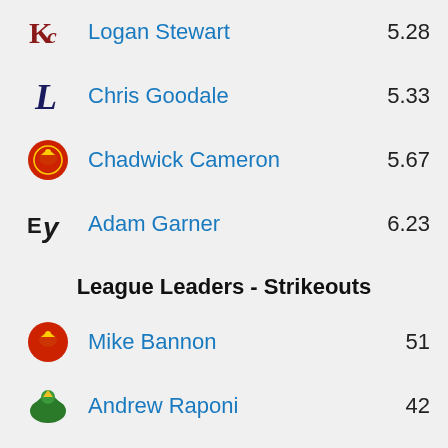KC Logan Stewart 5.28
L Chris Goodale 5.33
Chadwick Cameron 5.67
EY Adam Garner 6.23
League Leaders - Strikeouts
Mike Bannon 51
Andrew Raponi 42
Jeremias Sucre 38
Christian Mullen 34
Chadwick Cameron 30
Danny Garcia 29